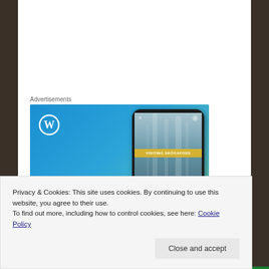Advertisements
[Figure (illustration): WordPress advertisement banner with blue-green gradient background. Shows WordPress 'W' circle logo in top left, large white serif text reading 'Create immersive stories.' on the left side, and a smartphone mockup on the right showing a waterfall photo with a yellow banner overlay reading 'VISITING SKÓGAFOSS']
Privacy & Cookies: This site uses cookies. By continuing to use this website, you agree to their use.
To find out more, including how to control cookies, see here: Cookie Policy
Close and accept